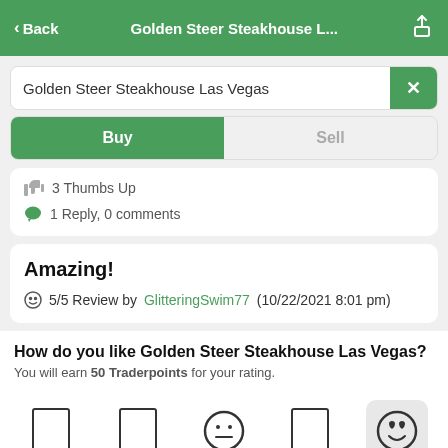< Back  Golden Steer Steakhouse L...  [share icon]
Golden Steer Steakhouse Las Vegas  ×
Buy  |  Sell
3 Thumbs Up
1 Reply, 0 comments
Amazing!
5/5 Review by GlitteringSwim77 (10/22/2021 8:01 pm)
How do you like Golden Steer Steakhouse Las Vegas?
You will earn 50 Traderpoints for your rating.
[Figure (other): Rating emoji row with 5 options: two outlined rectangles, a neutral face circle, an outlined rectangle, and a selected love-face smiley in a highlighted box]